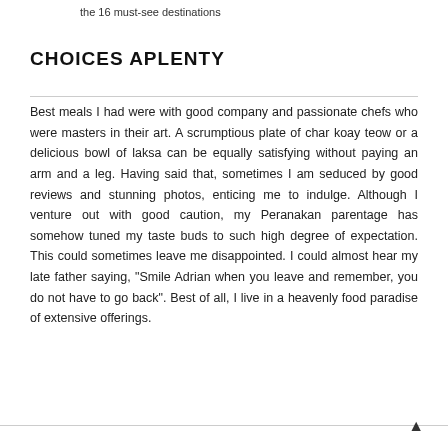the 16 must-see destinations
CHOICES APLENTY
Best meals I had were with good company and passionate chefs who were masters in their art. A scrumptious plate of char koay teow or a delicious bowl of laksa can be equally satisfying without paying an arm and a leg. Having said that, sometimes I am seduced by good reviews and stunning photos, enticing me to indulge. Although I venture out with good caution, my Peranakan parentage has somehow tuned my taste buds to such high degree of expectation. This could sometimes leave me disappointed. I could almost hear my late father saying, "Smile Adrian when you leave and remember, you do not have to go back". Best of all, I live in a heavenly food paradise of extensive offerings.